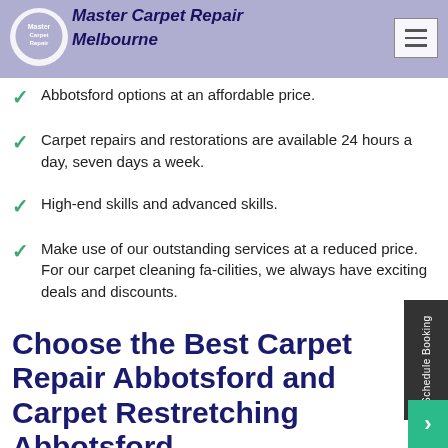Master Carpet Repair Melbourne
Abbotsford options at an affordable price.
Carpet repairs and restorations are available 24 hours a day, seven days a week.
High-end skills and advanced skills.
Make use of our outstanding services at a reduced price. For our carpet cleaning fa-cilities, we always have exciting deals and discounts.
Choose the Best Carpet Repair Abbotsford and Carpet Restretching Abbotsford
At Master Carpet Repair Melbourne, we just hire the best. We are a dependable source for outstanding Carpet Repair Abbotsford and Carpet Restretching Abbotsford service...